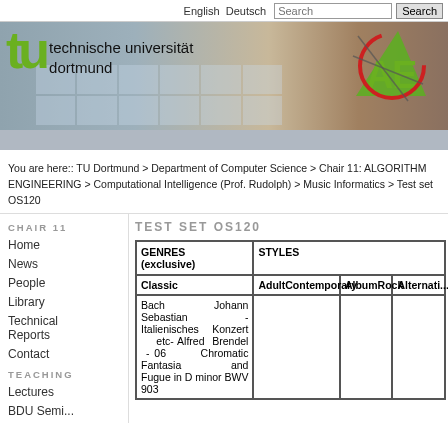English  Deutsch  Search [Search]
[Figure (screenshot): TU Dortmund university banner with green TU logo, university name 'technische universität dortmund', building photograph background, and AE (Algorithm Engineering) logo on the right.]
You are here:: TU Dortmund > Department of Computer Science > Chair 11: ALGORITHM ENGINEERING > Computational Intelligence (Prof. Rudolph) > Music Informatics > Test set OS120
CHAIR 11
TEST SET OS120
Home
News
People
Library
Technical Reports
Contact
TEACHING
Lectures
| GENRES (exclusive) | STYLES | AlbumRock | Alternati... |
| --- | --- | --- | --- |
| Classic | AdultContemporary | AlbumRock | Alternati... |
| Bach Johann Sebastian - Italienisches Konzert etc- Alfred Brendel - 06 Chromatic Fantasia and Fugue in D minor BWV 903 |  |  |  |